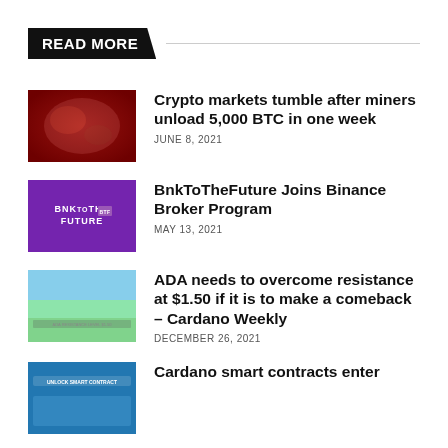READ MORE
[Figure (photo): Dark red/orange dramatic image related to crypto miners]
Crypto markets tumble after miners unload 5,000 BTC in one week
JUNE 8, 2021
[Figure (logo): BnkToTheFuture purple logo banner]
BnkToTheFuture Joins Binance Broker Program
MAY 13, 2021
[Figure (photo): ADA/Cardano light blue and green image]
ADA needs to overcome resistance at $1.50 if it is to make a comeback – Cardano Weekly
DECEMBER 26, 2021
[Figure (photo): Cardano smart contracts blue banner image]
Cardano smart contracts enter